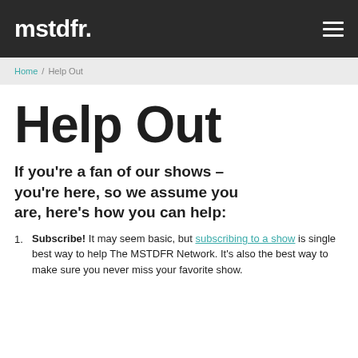mstdfr.
Home / Help Out
Help Out
If you're a fan of our shows – you're here, so we assume you are, here's how you can help:
Subscribe! It may seem basic, but subscribing to a show is single best way to help The MSTDFR Network. It's also the best way to make sure you never miss your favorite show.